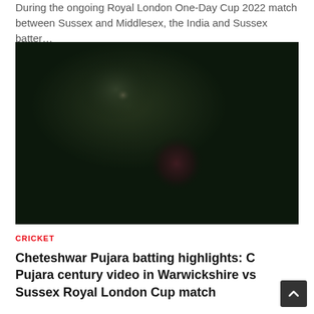During the ongoing Royal London One-Day Cup 2022 match between Sussex and Middlesex, the India and Sussex batter…
[Figure (photo): Dark blurred photograph of a cricket player batting, dark green/black background with silhouette figure in dark red/maroon kit]
CRICKET
Cheteshwar Pujara batting highlights: C Pujara century video in Warwickshire vs Sussex Royal London Cup match